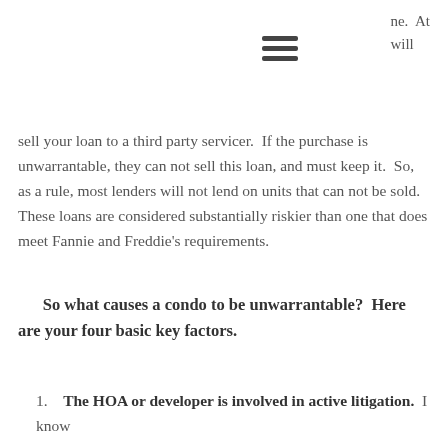ne.  At
will
sell your loan to a third party servicer.  If the purchase is unwarrantable, they can not sell this loan, and must keep it.  So, as a rule, most lenders will not lend on units that can not be sold.  These loans are considered substantially riskier than one that does meet Fannie and Freddie's requirements.
So what causes a condo to be unwarrantable?  Here are your four basic key factors.
1.    The HOA or developer is involved in active litigation.  I know